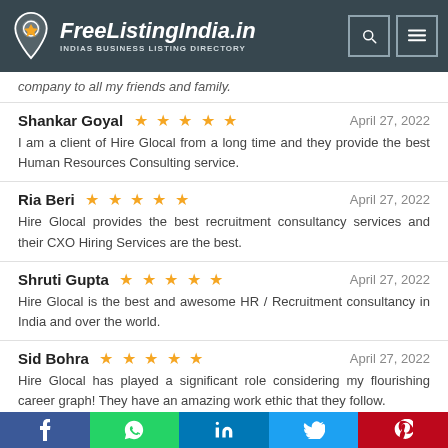[Figure (logo): FreeListingIndia.in logo with map pin icon and tagline INDIAS BUSINESS LISTING DIRECTORY on dark slate background with search and menu icons]
company to all my friends and family.
Shankar Goyal ★★★★★ April 27, 2022
I am a client of Hire Glocal from a long time and they provide the best Human Resources Consulting service.
Ria Beri ★★★★★ April 27, 2022
Hire Glocal provides the best recruitment consultancy services and their CXO Hiring Services are the best.
Shruti Gupta ★★★★★ April 27, 2022
Hire Glocal is the best and awesome HR / Recruitment consultancy in India and over the world.
Sid Bohra ★★★★★ April 27, 2022
Hire Glocal has played a significant role considering my flourishing career graph! They have an amazing work ethic that they follow.
[Figure (infographic): Social sharing bar with Facebook, WhatsApp, LinkedIn, Twitter, Pinterest buttons]